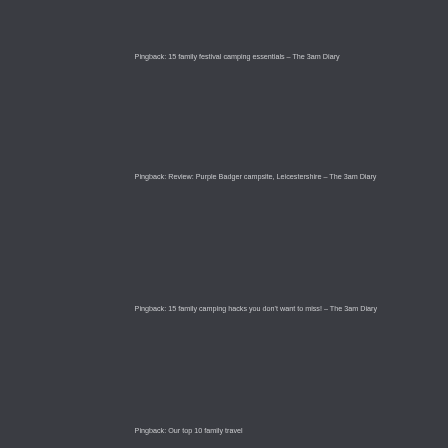Pingback: 15 family festival camping essentials – The 3am Diary
Pingback: Review: Purple Badger campsite, Leicestershire – The 3am Diary
Pingback: 15 family camping hacks you don't want to miss! – The 3am Diary
Pingback: Our top 10 family travel